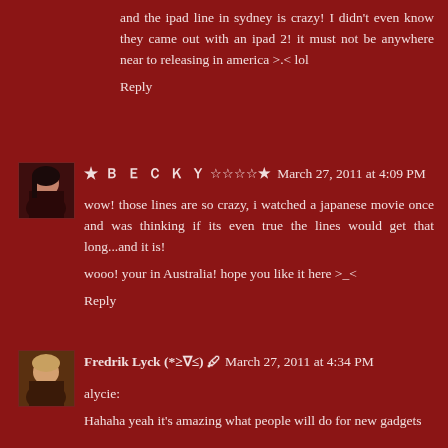and the ipad line in sydney is crazy! I didn't even know they came out with an ipad 2! it must not be anywhere near to releasing in america >.< lol
Reply
[Figure (photo): Avatar photo of Becky, a young woman with dark hair]
★ Ｂ Ｅ Ｃ Ｋ Ｙ ☆★  March 27, 2011 at 4:09 PM
wow! those lines are so crazy, i watched a japanese movie once and was thinking if its even true the lines would get that long...and it is!
wooo! your in Australia! hope you like it here >_<
Reply
[Figure (photo): Avatar photo of Fredrik Lyck, a person with light hair]
Fredrik Lyck (*≥∇≤) 🖊  March 27, 2011 at 4:34 PM
alycie:
Hahaha yeah it's amazing what people will do for new gadgets